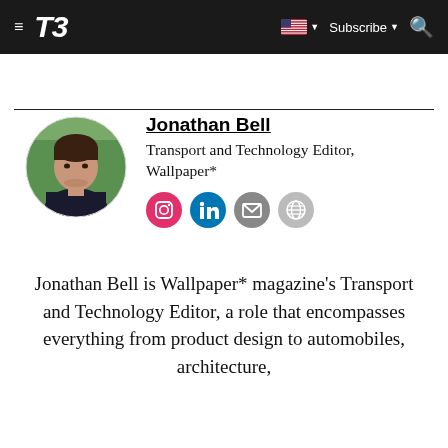T3 — Subscribe
Jonathan Bell
Transport and Technology Editor, Wallpaper*
[Figure (photo): Circular portrait photo of Jonathan Bell, a young man with dark hair wearing a dark jacket, outdoors with greenery in background]
Jonathan Bell is Wallpaper* magazine's Transport and Technology Editor, a role that encompasses everything from product design to automobiles, architecture,